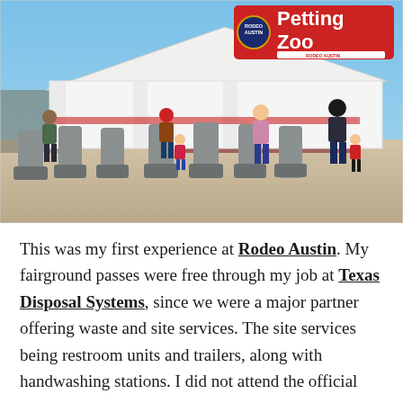[Figure (photo): Outdoor scene at Rodeo Austin near the Petting Zoo. People stand at portable handwashing stations in an outdoor dirt area. A large white tent is in the background. A red sign reading 'Petting Zoo' with the Rodeo Austin logo is visible in the upper right.]
This was my first experience at Rodeo Austin. My fairground passes were free through my job at Texas Disposal Systems, since we were a major partner offering waste and site services. The site services being restroom units and trailers, along with handwashing stations. I did not attend the official